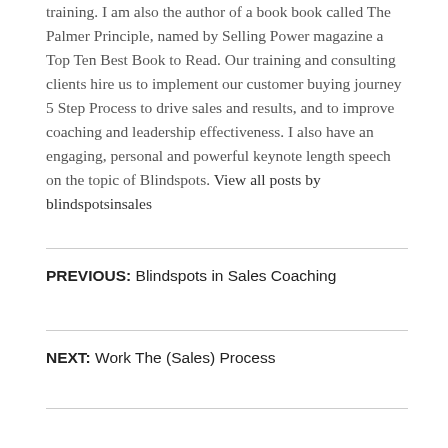training. I am also the author of a book book called The Palmer Principle, named by Selling Power magazine a Top Ten Best Book to Read. Our training and consulting clients hire us to implement our customer buying journey 5 Step Process to drive sales and results, and to improve coaching and leadership effectiveness. I also have an engaging, personal and powerful keynote length speech on the topic of Blindspots. View all posts by blindspotsinsales
PREVIOUS: Blindspots in Sales Coaching
NEXT: Work The (Sales) Process